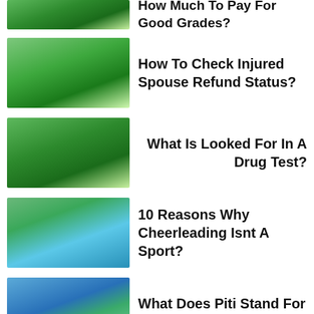How Much To Pay For Good Grades?
How To Check Injured Spouse Refund Status?
What Is Looked For In A Drug Test?
10 Reasons Why Cheerleading Isnt A Sport?
What Does Piti Stand For In Real Estate?
How To Earn Lot Of Money?
Popular Categories